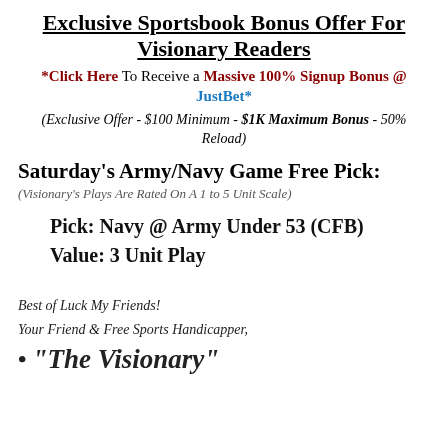Exclusive Sportsbook Bonus Offer For Visionary Readers
*Click Here To Receive a Massive 100% Signup Bonus @ JustBet*
(Exclusive Offer - $100 Minimum - $1K Maximum Bonus - 50% Reload)
Saturday's Army/Navy Game Free Pick:
(Visionary's Plays Are Rated On A 1 to 5 Unit Scale)
Pick: Navy @ Army Under 53 (CFB)
Value: 3 Unit Play
Best of Luck My Friends!
Your Friend & Free Sports Handicapper,
"The Visionary"